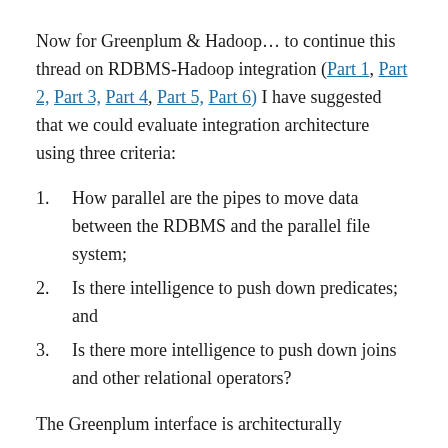Now for Greenplum & Hadoop… to continue this thread on RDBMS-Hadoop integration (Part 1, Part 2, Part 3, Part 4, Part 5, Part 6) I have suggested that we could evaluate integration architecture using three criteria:
How parallel are the pipes to move data between the RDBMS and the parallel file system;
Is there intelligence to push down predicates; and
Is there more intelligence to push down joins and other relational operators?
The Greenplum interface is architecturally